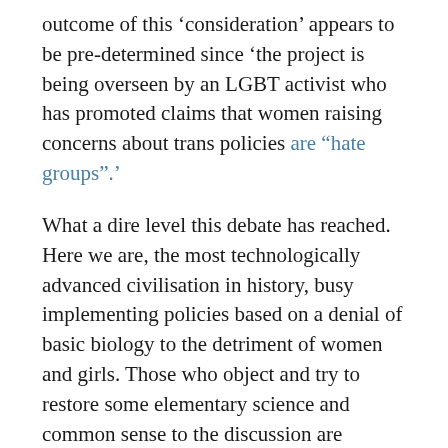outcome of this 'consideration' appears to be pre-determined since 'the project is being overseen by an LGBT activist who has promoted claims that women raising concerns about trans policies are "hate groups".’
What a dire level this debate has reached. Here we are, the most technologically advanced civilisation in history, busy implementing policies based on a denial of basic biology to the detriment of women and girls. Those who object and try to restore some elementary science and common sense to the discussion are branded ‘hate groups’ by those in charge, while the cowardly politicians shuffle their feet and keep their heads down.
How did it come to this? Victoria Hewson on Conservative Home has written a very useful